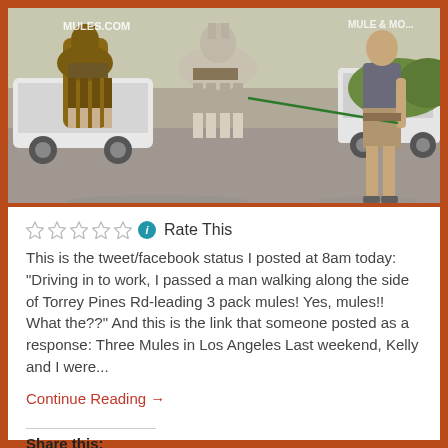[Figure (photo): Photo of a man walking three pack mules along a road, with cars in the background. The mules are wearing saddle gear. The man is wearing khaki shorts and a gray t-shirt.]
☆☆☆☆☆ ℹ Rate This
This is the tweet/facebook status I posted at 8am today: "Driving in to work, I passed a man walking along the side of Torrey Pines Rd-leading 3 pack mules! Yes, mules!! What the??" And this is the link that someone posted as a response: Three Mules in Los Angeles Last weekend, Kelly and I were...
Continue Reading →
Share this: